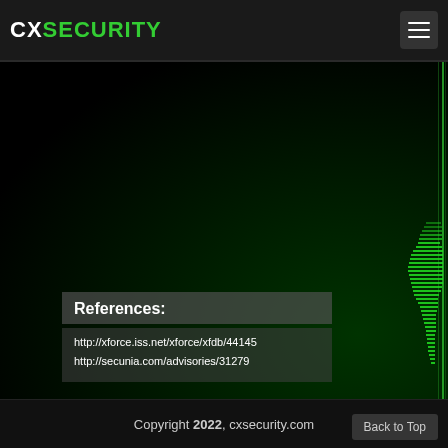CXSECURITY
References:
http://xforce.iss.net/xforce/xfdb/44145
http://secunia.com/advisories/31279
Copyright 2022, cxsecurity.com